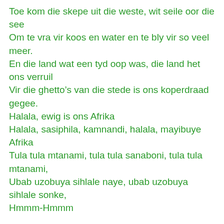Toe kom die skepe uit die weste, wit seile oor die see
Om te vra vir koos en water en te bly vir so veel meer.
En die land wat een tyd oop was, die land het ons verruil
Vir die ghetto’s van die stede is ons koperdraad gegee.
Halala, ewig is ons Afrika
Halala, sasiphila, kamnandi, halala, mayibuye Afrika
Tula tula mtanami, tula tula sanaboni, tula tula mtanami,
Ubab uzobuya sihlale naye, ubab uzobuya sihlale sonke,
Hmmm-Hmmm

Daar was rykdom in die maag van ons moeder Afrika
Diamante en ook steenkool, goud, edel metaal
En die mense word die slawe hier want die mense word betaal
Om te tonnel in die aarde elke greintjie uit te haal
En die groot en oop grasvlaktes span dit toe met doringdraad